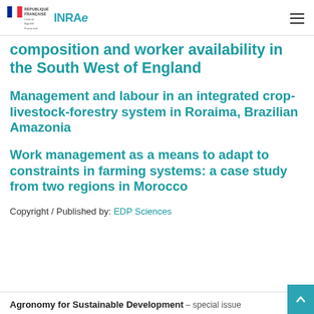REPUBLIQUE FRANÇAISE | INRAE
composition and worker availability in the South West of England
Management and labour in an integrated crop-livestock-forestry system in Roraima, Brazilian Amazonia
Work management as a means to adapt to constraints in farming systems: a case study from two regions in Morocco
Copyright / Published by: EDP Sciences
Agronomy for Sustainable Development – special issue